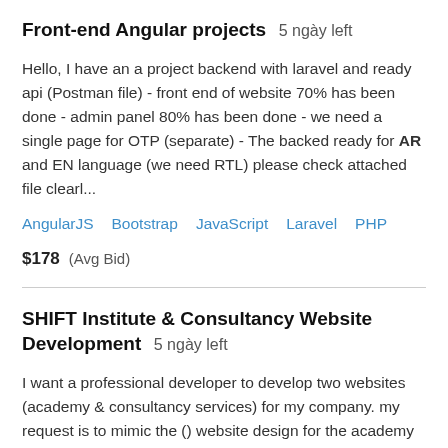Front-end Angular projects  5 ngày left
Hello, I have an a project backend with laravel and ready api (Postman file) - front end of website 70% has been done - admin panel 80% has been done - we need a single page for OTP (separate) - The backed ready for AR and EN language (we need RTL) please check attached file clearl...
AngularJS   Bootstrap   JavaScript   Laravel   PHP
$178  (Avg Bid)
SHIFT Institute & Consultancy Website Development  5 ngày left
I want a professional developer to develop two websites (academy & consultancy services) for my company. my request is to mimic the () website design for the academy site () and its need to integrate with the existing Moodle, and should have the CMS/cPanel option & basic SEO Th...